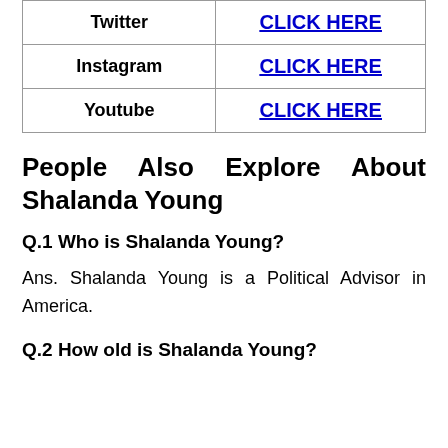| Platform | Link |
| --- | --- |
| Twitter | CLICK HERE |
| Instagram | CLICK HERE |
| Youtube | CLICK HERE |
People Also Explore About Shalanda Young
Q.1 Who is Shalanda Young?
Ans. Shalanda Young is a Political Advisor in America.
Q.2 How old is Shalanda Young?